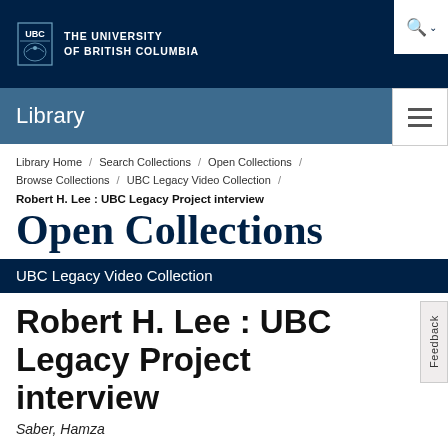THE UNIVERSITY OF BRITISH COLUMBIA
Library
Library Home / Search Collections / Open Collections / Browse Collections / UBC Legacy Video Collection /
Robert H. Lee : UBC Legacy Project interview
Open Collections
UBC Legacy Video Collection
Robert H. Lee : UBC Legacy Project interview
Saber, Hamza